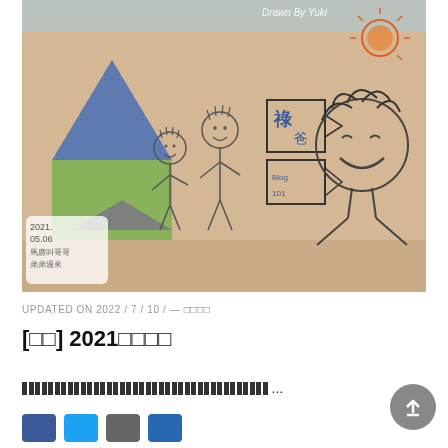[Figure (illustration): Child's hand-drawn illustration on tan/beige paper showing stick figures of people, a blue tent/triangle shape on the left with green below, Chinese characters on signs in the middle, a smiling face on the right, an orange sun in the upper right corner, and a blue sky band at the top. Text overlay 'Drawn By Yuki' in upper right. Date label '2021.05.06 馬鹿叫哥哥 弟弟過來' in lower left corner.]
UPDATED ON 2022 / 7 / 10 / — □□□□
[□□] 2021□□□□
□□□□□□□□□□□□□□□□□□□□□□□□□□□□□□□□□□□□ ...